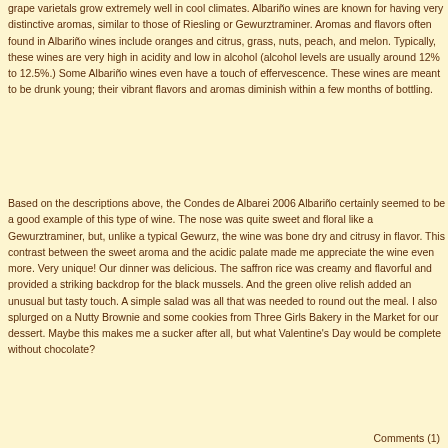grape varietals grow extremely well in cool climates. Albariño wines are known for having very distinctive aromas, similar to those of Riesling or Gewurztraminer. Aromas and flavors often found in Albariño wines include oranges and citrus, grass, nuts, peach, and melon. Typically, these wines are very high in acidity and low in alcohol (alcohol levels are usually around 12% to 12.5%.) Some Albariño wines even have a touch of effervescence. These wines are meant to be drunk young; their vibrant flavors and aromas diminish within a few months of bottling.
Based on the descriptions above, the Condes de Albarei 2006 Albariño certainly seemed to be a good example of this type of wine. The nose was quite sweet and floral like a Gewurztraminer, but, unlike a typical Gewurz, the wine was bone dry and citrusy in flavor. This contrast between the sweet aroma and the acidic palate made me appreciate the wine even more. Very unique! Our dinner was delicious. The saffron rice was creamy and flavorful and provided a striking backdrop for the black mussels. And the green olive relish added an unusual but tasty touch. A simple salad was all that was needed to round out the meal. I also splurged on a Nutty Brownie and some cookies from Three Girls Bakery in the Market for our dessert. Maybe this makes me a sucker after all, but what Valentine's Day would be complete without chocolate?
Comments (1)